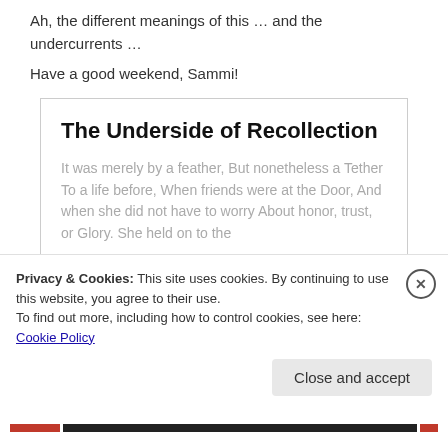Ah, the different meanings of this … and the undercurrents …
Have a good weekend, Sammi!
The Underside of Recollection
It was merely by a feather, But nonetheless a Tether To a life before, When friends were at the Door, And when she did not have to worry About honor, trust, or Glory. She held on to the
Privacy & Cookies: This site uses cookies. By continuing to use this website, you agree to their use.
To find out more, including how to control cookies, see here: Cookie Policy
Close and accept